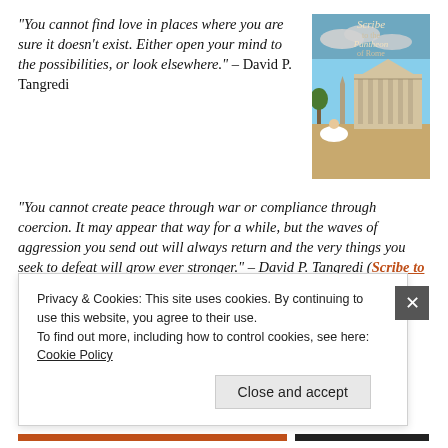“You cannot find love in places where you are sure it doesn’t exist. Either open your mind to the possibilities, or look elsewhere.” – David P. Tangredi
[Figure (illustration): Book cover of 'Scribe to the Pantheon of Rome' showing a Roman temple scene with a figure in white robes]
“You cannot create peace through war or compliance through coercion. It may appear that way for a while, but the waves of aggression you send out will always return and the very things you seek to defeat will grow ever stronger.” – David P. Tangredi (Scribe to the Pantheon of Rome)
Privacy & Cookies: This site uses cookies. By continuing to use this website, you agree to their use.
To find out more, including how to control cookies, see here: Cookie Policy